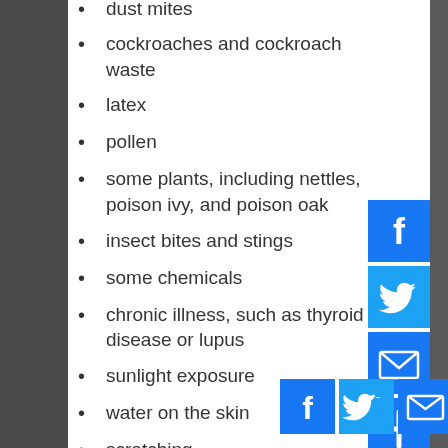dust mites
cockroaches and cockroach waste
latex
pollen
some plants, including nettles, poison ivy, and poison oak
insect bites and stings
some chemicals
chronic illness, such as thyroid disease or lupus
sunlight exposure
water on the skin
scratching
exercise
Pain medications
Insects or parasites
Infection
Scratching